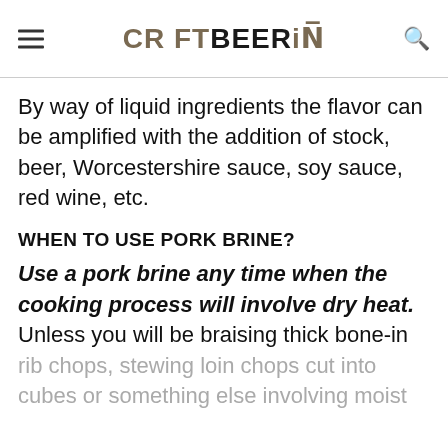CRAFTBEERING
By way of liquid ingredients the flavor can be amplified with the addition of stock, beer, Worcestershire sauce, soy sauce, red wine, etc.
WHEN TO USE PORK BRINE?
Use a pork brine any time when the cooking process will involve dry heat. Unless you will be braising thick bone-in rib chops, stewing loin chops cut into cubes or something else involving moist